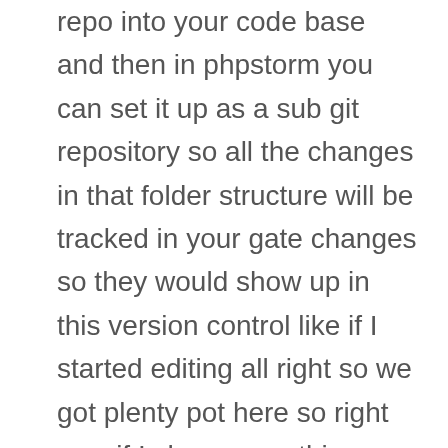repo into your code base and then in phpstorm you can set it up as a sub git repository so all the changes in that folder structure will be tracked in your gate changes so they would show up in this version control like if I started editing all right so we got plenty pot here so right now if I change anything inside a pilot she's not a good example because this this refill track and compare attracting check in this folder all right new